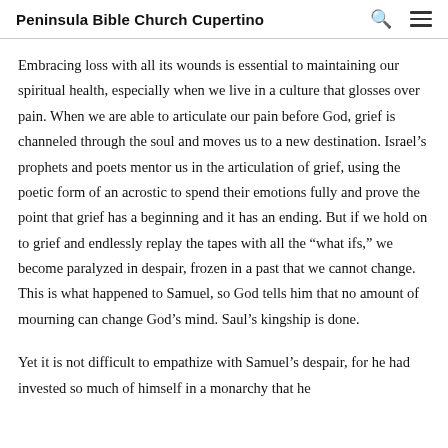Peninsula Bible Church Cupertino
Embracing loss with all its wounds is essential to maintaining our spiritual health, especially when we live in a culture that glosses over pain. When we are able to articulate our pain before God, grief is channeled through the soul and moves us to a new destination. Israel’s prophets and poets mentor us in the articulation of grief, using the poetic form of an acrostic to spend their emotions fully and prove the point that grief has a beginning and it has an ending. But if we hold on to grief and endlessly replay the tapes with all the “what ifs,” we become paralyzed in despair, frozen in a past that we cannot change. This is what happened to Samuel, so God tells him that no amount of mourning can change God’s mind. Saul’s kingship is done.
Yet it is not difficult to empathize with Samuel’s despair, for he had invested so much of himself in a monarchy that he